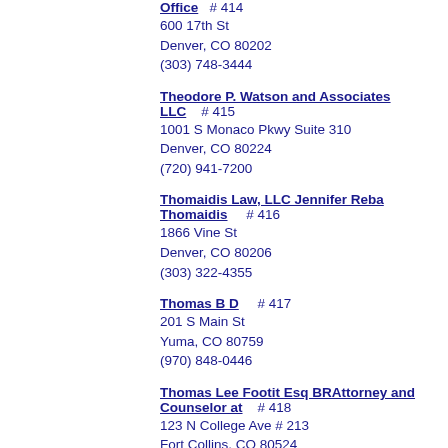Office  # 414
600 17th St
Denver, CO 80202
(303) 748-3444
Theodore P. Watson and Associates LLC  # 415
1001 S Monaco Pkwy Suite 310
Denver, CO 80224
(720) 941-7200
Thomaidis Law, LLC Jennifer Reba Thomaidis  # 416
1866 Vine St
Denver, CO 80206
(303) 322-4355
Thomas B D  # 417
201 S Main St
Yuma, CO 80759
(970) 848-0446
Thomas Lee Footit Esq BRAttorney and Counselor at  # 418
123 N College Ave # 213
Fort Collins, CO 80524
(303) 561-1313